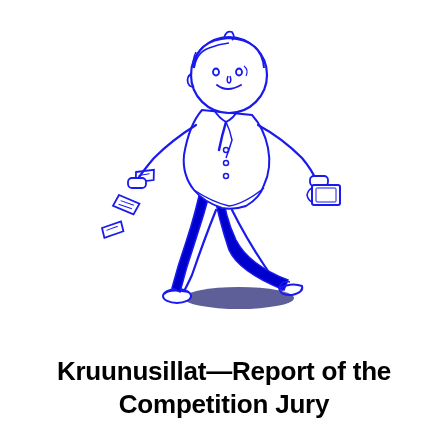[Figure (illustration): Blue line-art illustration of a person running/leaping forward, holding a book or folder in one hand, with papers flying behind them. The figure wears blue trousers and a light top. A dark oval shadow is beneath the figure. The illustration is drawn in a simple cartoon style using blue outlines and filled blue shapes.]
Kruunusillat—Report of the Competition Jury